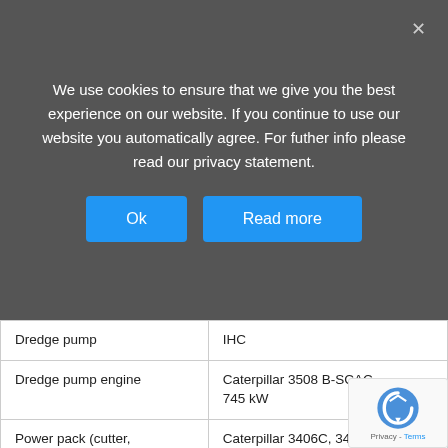We use cookies to ensure that we give you the best experience on our website. If you continue to use our website you automatically agree. For futher info please read our privacy statement.
Ok
Read more
| Dredge pump | IHC |
| Dredge pump engine | Caterpillar 3508 B-SCAC, 745 kW |
| Power pack (cutter, winches, spuds) | Caterpillar 3406C, 345 kW |
| Total installed power | 1,090 kW |
|  |  |
| Deck equipment |  |
| Cutter | IHC, 170 kW, 1,455 mm, 30 rpm |